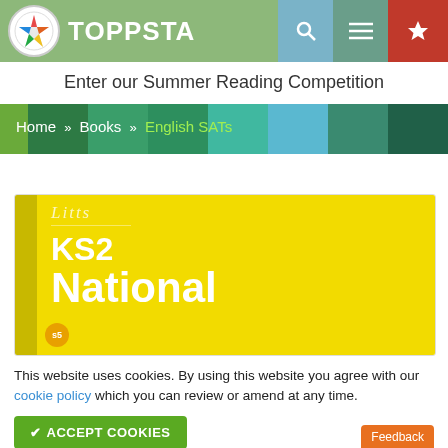[Figure (screenshot): Toppsta website header with colorful star logo, TOPPSTA text, search icon, menu icon, and red star/bookmark button]
Enter our Summer Reading Competition
[Figure (infographic): Colored stripe navigation bar with breadcrumb: Home » Books » English SATs]
[Figure (photo): Book cover for Letts KS2 National curriculum book on yellow background]
This website uses cookies. By using this website you agree with our cookie policy which you can review or amend at any time.
✔ ACCEPT COOKIES